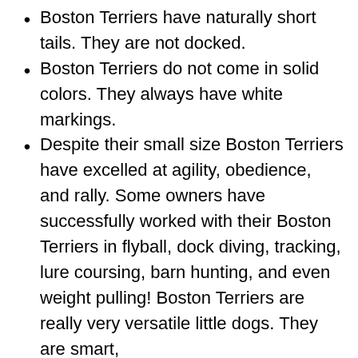Boston Terriers have naturally short tails. They are not docked.
Boston Terriers do not come in solid colors. They always have white markings.
Despite their small size Boston Terriers have excelled at agility, obedience, and rally. Some owners have successfully worked with their Boston Terriers in flyball, dock diving, tracking, lure coursing, barn hunting, and even weight pulling! Boston Terriers are really very versatile little dogs. They are smart,